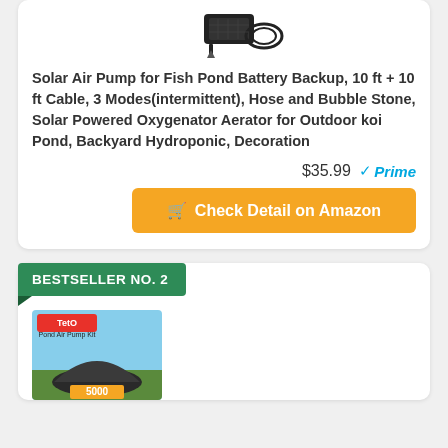[Figure (photo): Product photo of a solar air pump device with cable, shown from above on white background]
Solar Air Pump for Fish Pond Battery Backup, 10 ft + 10 ft Cable, 3 Modes(intermittent), Hose and Bubble Stone, Solar Powered Oxygenator Aerator for Outdoor koi Pond, Backyard Hydroponic, Decoration
$35.99 ✓Prime
🛒 Check Detail on Amazon
BESTSELLER NO. 2
[Figure (photo): Product photo of Tetra Pond Air Pump Kit with dome-shaped black pump and text showing 5000]